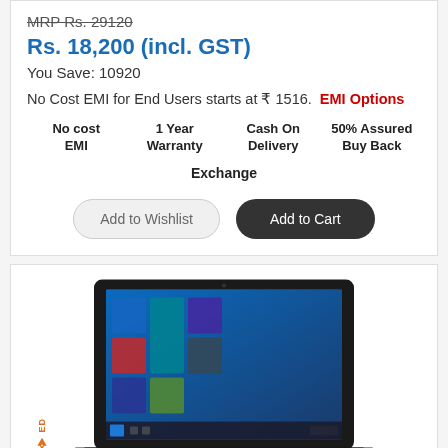MRP Rs. 29120
Rs. 18,200 (incl. GST)
You Save: 10920
No Cost EMI for End Users starts at ₹ 1516.  EMI Options
No cost EMI | 1 Year Warranty | Cash On Delivery | 50% Assured Buy Back
Exchange
Add to Wishlist
Add to Cart
[Figure (photo): A Dell laptop with Windows 10 displayed on the screen, shown at an angle against a white background. A recycling/refurbished badge is visible on the lower left.]